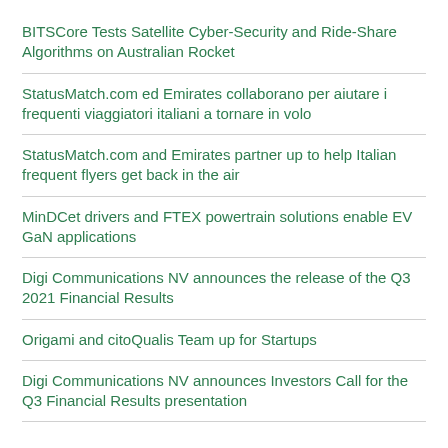BITSCore Tests Satellite Cyber-Security and Ride-Share Algorithms on Australian Rocket
StatusMatch.com ed Emirates collaborano per aiutare i frequenti viaggiatori italiani a tornare in volo
StatusMatch.com and Emirates partner up to help Italian frequent flyers get back in the air
MinDCet drivers and FTEX powertrain solutions enable EV GaN applications
Digi Communications NV announces the release of the Q3 2021 Financial Results
Origami and citoQualis Team up for Startups
Digi Communications NV announces Investors Call for the Q3 Financial Results presentation